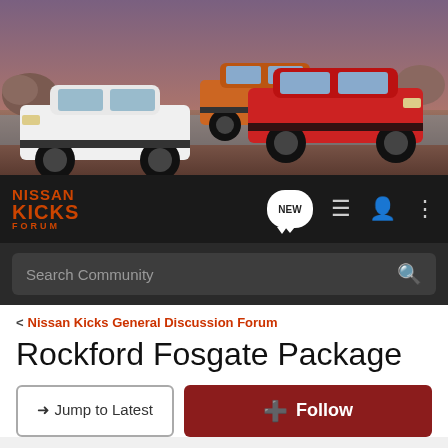[Figure (photo): Banner image showing multiple Nissan Kicks SUVs in white, orange, and red colors on a scenic background]
[Figure (logo): Nissan Kicks Forum logo in orange/red on dark navbar background with navigation icons including NEW badge, list icon, user icon, and menu icon]
Search Community
< Nissan Kicks General Discussion Forum
Rockford Fosgate Package
→ Jump to Latest
+ Follow
1 - 11 of 11 Posts
sado1287 · Registered
Joined Oct 26, 2018 · 3 Posts